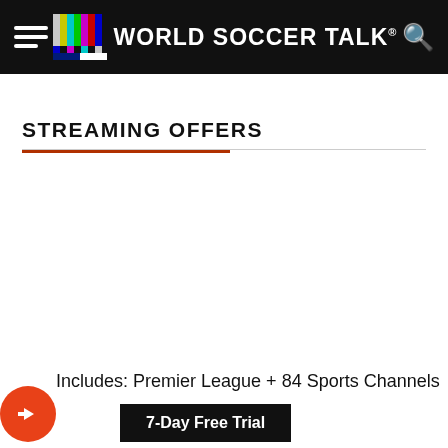WORLD SOCCER TALK
STREAMING OFFERS
Includes: Premier League + 84 Sports Channels
7-Day Free Trial